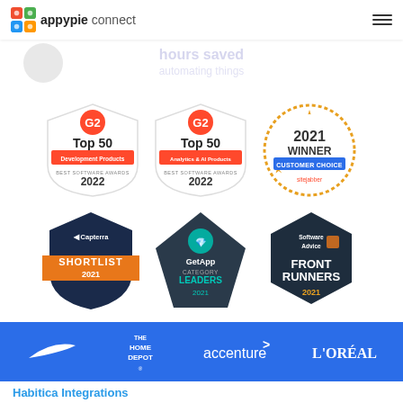[Figure (logo): Appy Pie Connect logo with colorful icon and text]
[Figure (infographic): Six award badges: G2 Top 50 Development Products Best Software Awards 2022, G2 Top 50 Analytics & AI Products Best Software Awards 2022, Sitejabber 2021 Winner Customer Choice, Capterra Shortlist 2021, GetApp Category Leaders 2021, Software Advice Front Runners 2021]
[Figure (infographic): Blue partner bar with logos: Nike, The Home Depot, accenture, L'OREAL]
Habitica Integrations